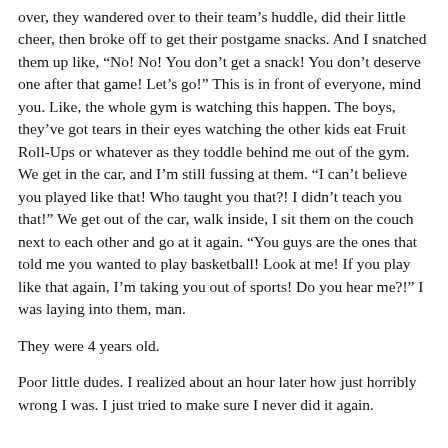over, they wandered over to their team's huddle, did their little cheer, then broke off to get their postgame snacks. And I snatched them up like, “No! No! You don’t get a snack! You don’t deserve one after that game! Let’s go!” This is in front of everyone, mind you. Like, the whole gym is watching this happen. The boys, they’ve got tears in their eyes watching the other kids eat Fruit Roll-Ups or whatever as they toddle behind me out of the gym. We get in the car, and I’m still fussing at them. “I can’t believe you played like that! Who taught you that?! I didn’t teach you that!” We get out of the car, walk inside, I sit them on the couch next to each other and go at it again. “You guys are the ones that told me you wanted to play basketball! Look at me! If you play like that again, I’m taking you out of sports! Do you hear me?!” I was laying into them, man.
They were 4 years old.
Poor little dudes. I realized about an hour later how just horribly wrong I was. I just tried to make sure I never did it again.